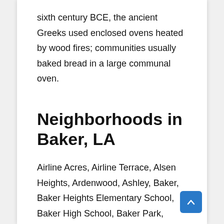sixth century BCE, the ancient Greeks used enclosed ovens heated by wood fires; communities usually baked bread in a large communal oven.
Neighborhoods in Baker, LA
Airline Acres, Airline Terrace, Alsen Heights, Ardenwood, Ashley, Baker, Baker Heights Elementary School, Baker High School, Baker Park, Baker Recreation Center, Baton Rouge, LA, Biltmore, Broadmoor/Sherwood Forest, Brown Heights Park, Capital Heights